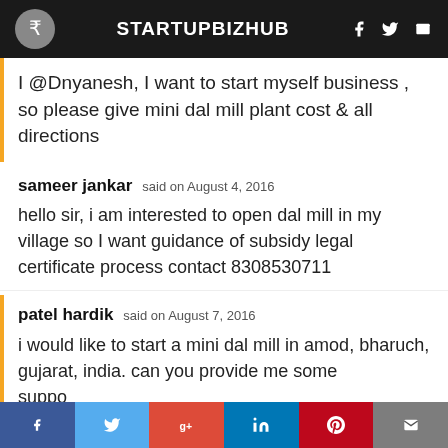STARTUPBIZHUB
I @Dnyanesh, I want to start myself business , so please give mini dal mill plant cost & all directions
sameer jankar said on August 4, 2016
hello sir, i am interested to open dal mill in my village so I want guidance of subsidy legal certificate process contact 8308530711
patel hardik said on August 7, 2016
i would like to start a mini dal mill in amod, bharuch, gujarat, india. can you provide me some suppo... more